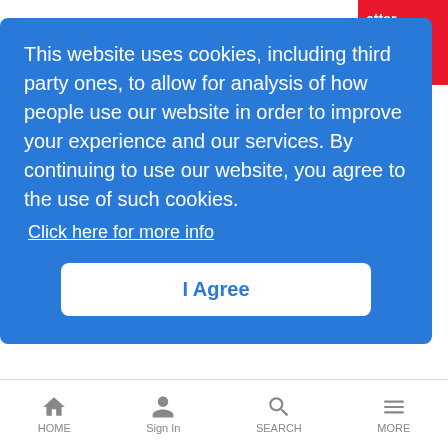[Figure (screenshot): Red button partially visible in top right corner with text 'etter up']
tems of support
NB-IoT), , and more. This makes 5G a critical enabler of advanced IoT applications for enterprises, industries, and consumers.
This website uses cookies, including third party ones, to allow for analysis of how people use our website in order to improve your experience and our services. By continuing to use our website, you agree to the use of such cookies.
Click here for more info
I Agree
Mastering the unexpected through innovation for critical networks
Information Resources | 9/20/2021
This sponsored content is ungated and does not require registration. It
HOME  Sign In  SEARCH  MORE